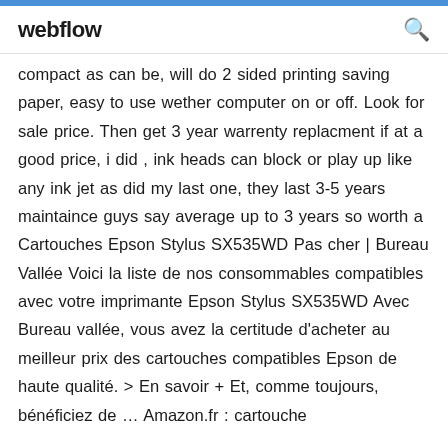webflow
compact as can be, will do 2 sided printing saving paper, easy to use wether computer on or off. Look for sale price. Then get 3 year warrenty replacment if at a good price, i did , ink heads can block or play up like any ink jet as did my last one, they last 3-5 years maintaince guys say average up to 3 years so worth a Cartouches Epson Stylus SX535WD Pas cher | Bureau Vallée Voici la liste de nos consommables compatibles avec votre imprimante Epson Stylus SX535WD Avec Bureau vallée, vous avez la certitude d'acheter au meilleur prix des cartouches compatibles Epson de haute qualité. > En savoir + Et, comme toujours, bénéficiez de … Amazon.fr : cartouche